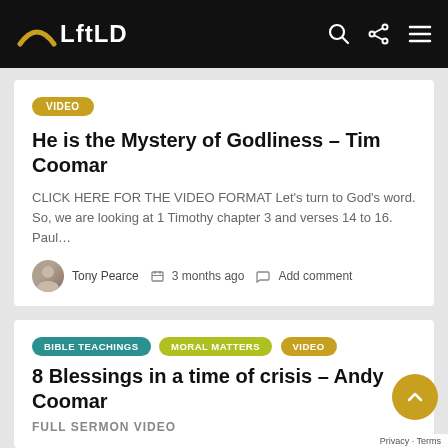LftLD
VIDEO
He is the Mystery of Godliness – Tim Coomar
CLICK HERE FOR THE VIDEO FORMAT Let's turn to God's word. So, we are looking at 1 Timothy chapter 3 and verses 14 to 16. Paul…
Tony Pearce   3 months ago   Add comment
BIBLE TEACHINGS   MORAL MATTERS   VIDEO
8 Blessings in a time of crisis – Andy Coomar
FULL SERMON VIDEO